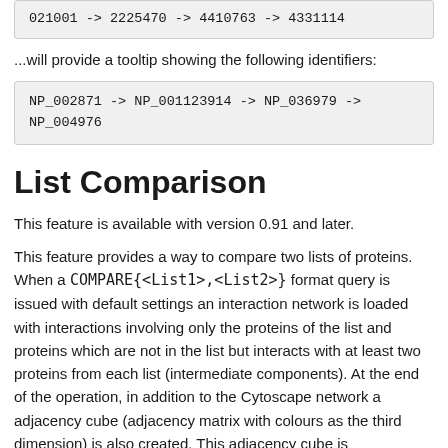021001 -> 2225470 -> 4410763 -> 4331114
...will provide a tooltip showing the following identifiers:
NP_002871 -> NP_001123914 -> NP_036979 -> NP_004976
List Comparison
This feature is available with version 0.91 and later.
This feature provides a way to compare two lists of proteins. When a COMPARE{<List1>,<List2>} format query is issued with default settings an interaction network is loaded with interactions involving only the proteins of the list and proteins which are not in the list but interacts with at least two proteins from each list (intermediate components). At the end of the operation, in addition to the Cytoscape network a adjacency cube (adjacency matrix with colours as the third dimension) is also created. This adjacency cube is